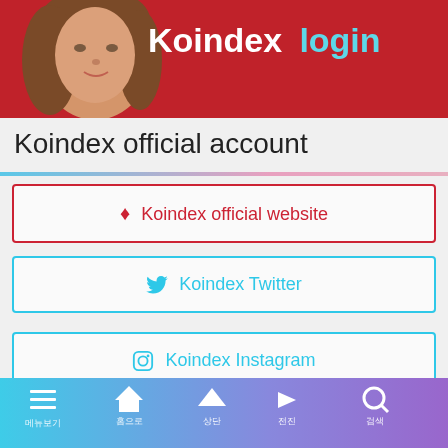[Figure (screenshot): Koindex app banner with a young woman on a red background, showing 'Koindex login' text in white and cyan]
Koindex official account
💎 Koindex official website
🐦 Koindex Twitter
📷 Koindex Instagram
[Figure (screenshot): Mobile app navigation bar with menu, home, up, forward, and search icons with Korean labels]